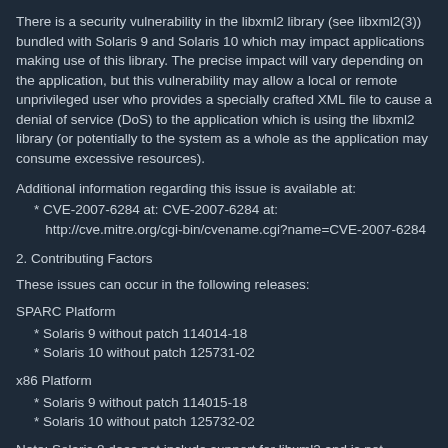There is a security vulnerability in the libxml2 library (see libxml2(3)) bundled with Solaris 9 and Solaris 10 which may impact applications making use of this library. The precise impact will vary depending on the application, but this vulnerability may allow a local or remote unprivileged user who provides a specially crafted XML file to cause a denial of service (DoS) to the application which is using the libxml2 library (or potentially to the system as a whole as the application may consume excessive resources).
Additional information regarding this issue is available at:
* CVE-2007-6284 at: CVE-2007-6284 at: http://cve.mitre.org/cgi-bin/cvename.cgi?name=CVE-2007-6284
2. Contributing Factors
These issues can occur in the following releases:
SPARC Platform
* Solaris 9 without patch 114014-18
* Solaris 10 without patch 125731-02
x86 Platform
* Solaris 9 without patch 114015-18
* Solaris 10 without patch 125732-02
Note: Solaris 8 does not include support for libxml2 and is not impacted by this issue.
3. Symptoms
If the described issue is exploited, the application which makes use of the libxml2 library to process the crafted XML file may be unresponsive, possibly consuming all available CPU resources while